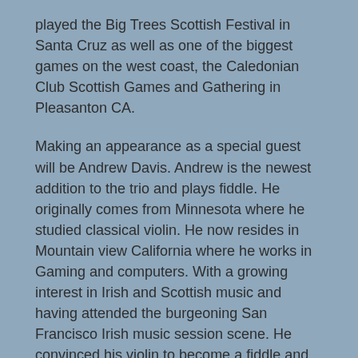played the Big Trees Scottish Festival in Santa Cruz as well as one of the biggest games on the west coast, the Caledonian Club Scottish Games and Gathering in Pleasanton CA.
Making an appearance as a special guest will be Andrew Davis. Andrew is the newest addition to the trio and plays fiddle. He originally comes from Minnesota where he studied classical violin. He now resides in Mountain view California where he works in Gaming and computers. With a growing interest in Irish and Scottish music and having attended the burgeoning San Francisco Irish music session scene. He convinced his violin to become a fiddle and started playing local Irish pubs.